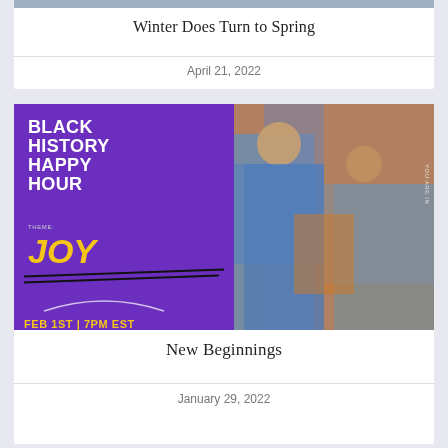Winter Does Turn to Spring
April 21, 2022
[Figure (photo): Black History Happy Hour event poster with purple background and 'JOY' theme, combined with a photo collage of people at an event.]
New Beginnings
January 29, 2022